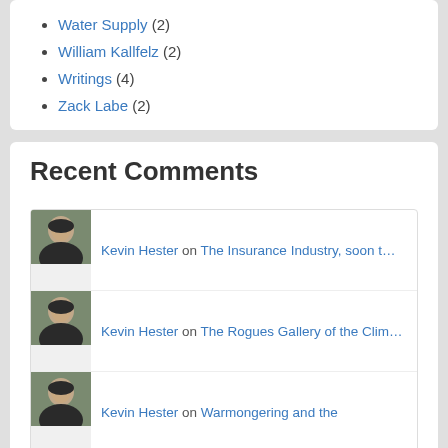Water Supply (2)
William Kallfelz (2)
Writings (4)
Zack Labe (2)
Recent Comments
Kevin Hester on The Insurance Industry, soon t…
Kevin Hester on The Rogues Gallery of the Clim…
Kevin Hester on Warmongering and the